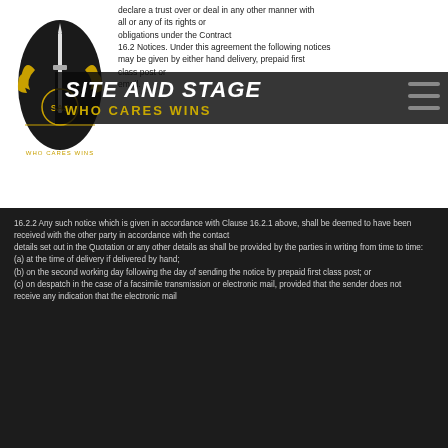[Figure (logo): Site and Stage logo: SAS emblem with dagger and wings, gold/yellow on dark background, with 'WHO CARES WINS' motto]
SITE AND STAGE
WHO CARES WINS
declare a trust over or deal in any other manner with all or any of its rights or obligations under the Contract
16.2 Notices. Under this agreement the following notices may be given by either hand delivery, prepaid first class post or email.
16.2.2 Any such notice which is given in accordance with Clause 16.2.1 above, shall be deemed to have been received with the other party in accordance with the contact details set out in the Quotation or any other details as shall be provided by the parties in writing from time to time:
(a) at the time of delivery if delivered by hand;
(b) on the second working day following the day of sending the notice by prepaid first class post; or
(c) on despatch in the case of a facsimile transmission or electronic mail, provided that the sender does not receive any indication that the electronic mail